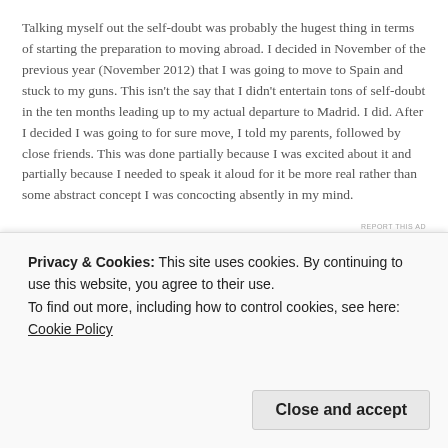Talking myself out the self-doubt was probably the hugest thing in terms of starting the preparation to moving abroad. I decided in November of the previous year (November 2012) that I was going to move to Spain and stuck to my guns. This isn't the say that I didn't entertain tons of self-doubt in the ten months leading up to my actual departure to Madrid. I did. After I decided I was going to for sure move, I told my parents, followed by close friends. This was done partially because I was excited about it and partially because I needed to speak it aloud for it be more real rather than some abstract concept I was concocting absently in my mind.
[Figure (other): Advertisement banner for Pocket Casts podcast app showing red background with text 'for listeners.' and a phone graphic with Pocket Casts logo]
REPORT THIS AD
I wanted to blame I needed to live in Spain...
Privacy & Cookies: This site uses cookies. By continuing to use this website, you agree to their use.
To find out more, including how to control cookies, see here: Cookie Policy
Close and accept